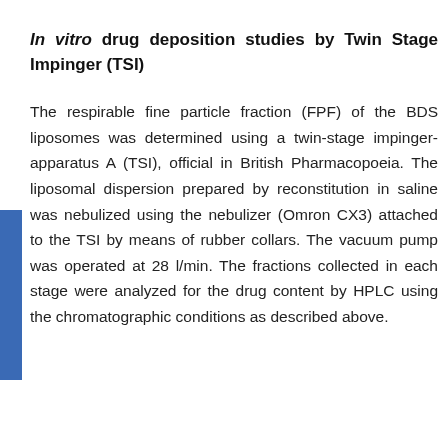In vitro drug deposition studies by Twin Stage Impinger (TSI)
The respirable fine particle fraction (FPF) of the BDS liposomes was determined using a twin-stage impinger- apparatus A (TSI), official in British Pharmacopoeia. The liposomal dispersion prepared by reconstitution in saline was nebulized using the nebulizer (Omron CX3) attached to the TSI by means of rubber collars. The vacuum pump was operated at 28 l/min. The fractions collected in each stage were analyzed for the drug content by HPLC using the chromatographic conditions as described above.